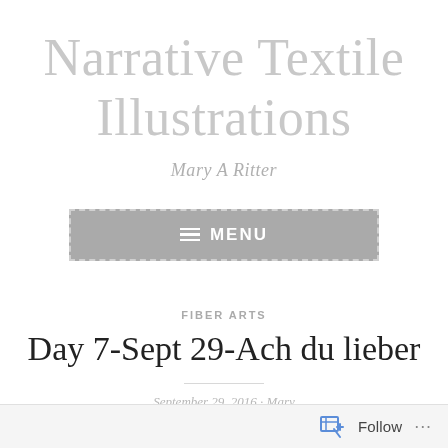Narrative Textile Illustrations
Mary A Ritter
[Figure (other): Menu button with hamburger icon and dashed border, grey background, white text reading MENU]
FIBER ARTS
Day 7-Sept 29-Ach du lieber
September 29, 2016  ·  Mary
Follow  ...